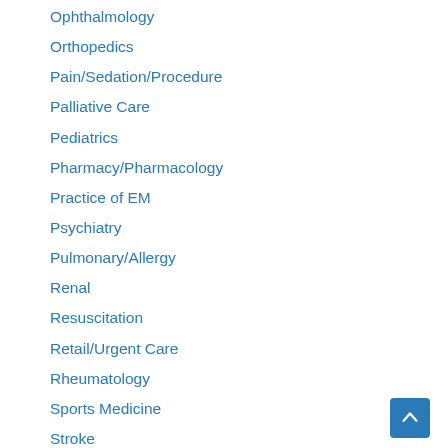Ophthalmology
Orthopedics
Pain/Sedation/Procedure
Palliative Care
Pediatrics
Pharmacy/Pharmacology
Practice of EM
Psychiatry
Pulmonary/Allergy
Renal
Resuscitation
Retail/Urgent Care
Rheumatology
Sports Medicine
Stroke